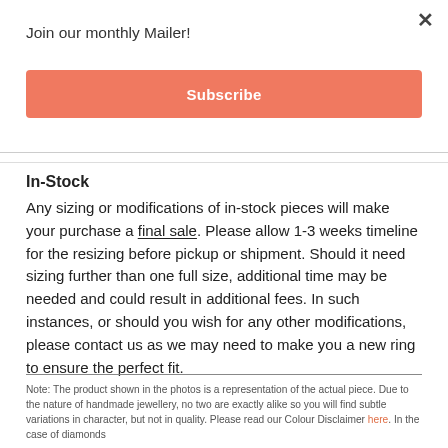Join our monthly Mailer!
Subscribe
In-Stock
Any sizing or modifications of in-stock pieces will make your purchase a final sale. Please allow 1-3 weeks timeline for the resizing before pickup or shipment. Should it need sizing further than one full size, additional time may be needed and could result in additional fees. In such instances, or should you wish for any other modifications, please contact us as we may need to make you a new ring to ensure the perfect fit.
Note: The product shown in the photos is a representation of the actual piece. Due to the nature of handmade jewellery, no two are exactly alike so you will find subtle variations in character, but not in quality. Please read our Colour Disclaimer here. In the case of diamonds